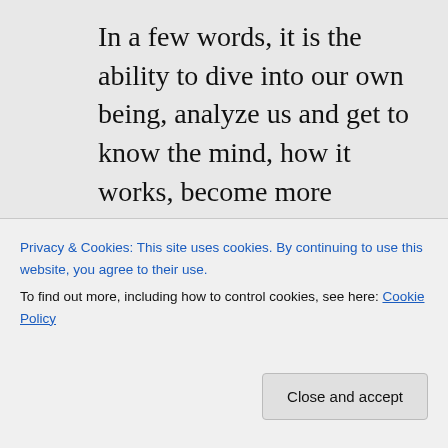In a few words, it is the ability to dive into our own being, analyze us and get to know the mind, how it works, become more conscious in the process of: “Man know thyself” – the strange thing is that we all think we know ourselves best, however, we are still blind, we do not know us in the proper way. Many times we just react, instead of act, we follow blindly the whole spectrum of our mind: anger, happiness,
Privacy & Cookies: This site uses cookies. By continuing to use this website, you agree to their use. To find out more, including how to control cookies, see here: Cookie Policy
Close and accept
encouraging and very kind 😊